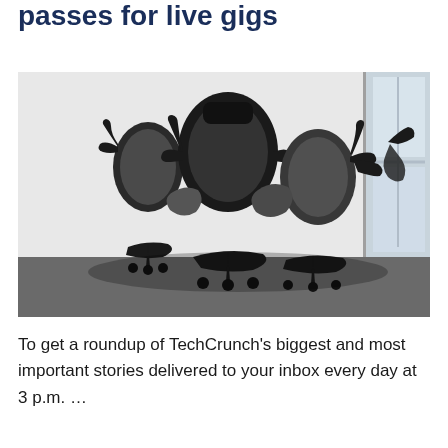passes for live gigs
[Figure (photo): A pile of black office chairs stacked and leaning against a white wall in a room with a window, on a grey carpeted floor.]
To get a roundup of TechCrunch’s biggest and most important stories delivered to your inbox every day at 3 p.m. …